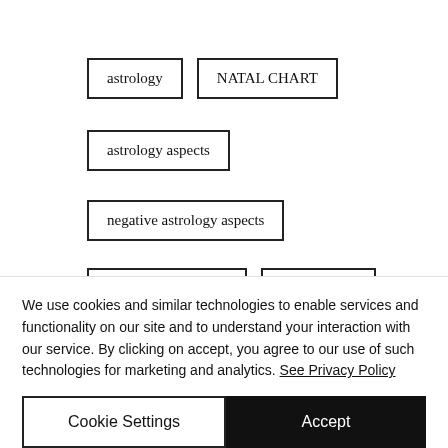astrology
NATAL CHART
astrology aspects
negative astrology aspects
the moon in scorpio
mars in libra
jupiter conjunct chiron
We use cookies and similar technologies to enable services and functionality on our site and to understand your interaction with our service. By clicking on accept, you agree to our use of such technologies for marketing and analytics. See Privacy Policy
Cookie Settings
Accept